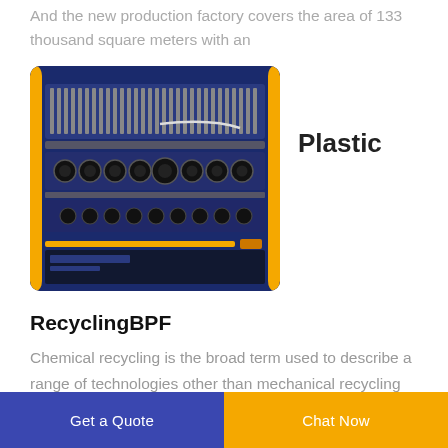And the new production factory covers the area of 133 thousand square meters with an
[Figure (photo): Industrial plastic recycling machine with blue metal casing, yellow accents, black circular nozzles/heads arranged in rows, and conveyor components.]
Plastic
RecyclingBPF
Chemical recycling is the broad term used to describe a range of technologies other than mechanical recycling that are emerging in the plastic waste recycling sector to recycle plastics streams
Get a Quote  Chat Now